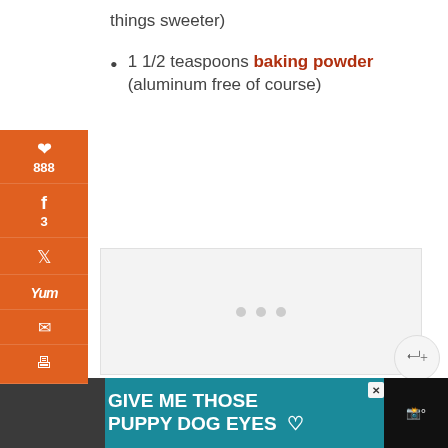things sweeter)
1 1/2 teaspoons baking powder (aluminum free of course)
[Figure (screenshot): Gray placeholder ad box with three loading dots]
[Figure (infographic): Social share sidebar with Pinterest (888), Facebook (3), Twitter, Yummly, Email, and Print icons in orange. Total shares: 891]
[Figure (infographic): Ad banner at bottom: teal background with dog image and text 'GIVE ME THOSE PUPPY DOG EYES' with heart icon and close button]